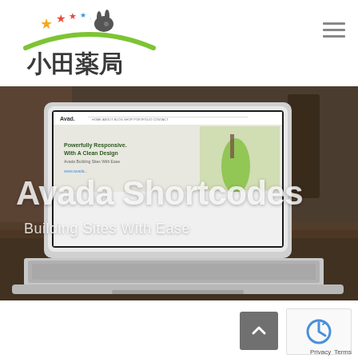[Figure (logo): 小田薬局 pharmacy logo with colorful stars and green arc with rabbit silhouette, Japanese text reading 小田薬局]
[Figure (screenshot): A laptop displaying the Avada WordPress theme website, showing 'Powerfully Responsive. With A Clean Design' text and a green smoothie image. Overlaid large white text reads 'Avada Shortcodes' and 'Building Sites With Ease'. Background shows a wooden table setting.]
[Figure (other): reCAPTCHA widget and back-to-top button in bottom right corner. Privacy and Terms links at very bottom.]